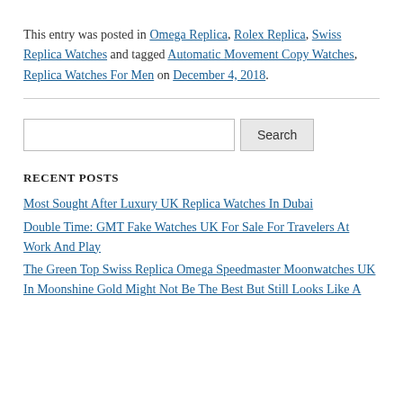This entry was posted in Omega Replica, Rolex Replica, Swiss Replica Watches and tagged Automatic Movement Copy Watches, Replica Watches For Men on December 4, 2018.
[Figure (other): Horizontal rule separator]
[Figure (other): Search input field with Search button]
RECENT POSTS
Most Sought After Luxury UK Replica Watches In Dubai
Double Time: GMT Fake Watches UK For Sale For Travelers At Work And Play
The Green Top Swiss Replica Omega Speedmaster Moonwatches UK In Moonshine Gold Might Not Be The Best But Still Looks Like A